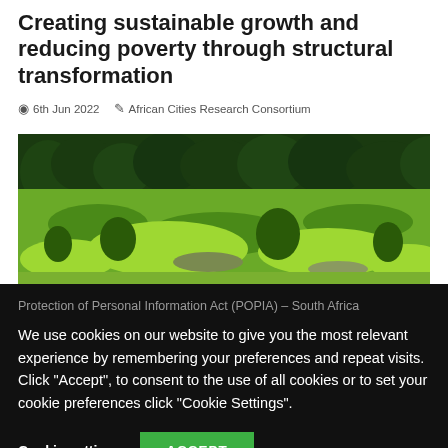Creating sustainable growth and reducing poverty through structural transformation
6th Jun 2022  African Cities Research Consortium
[Figure (photo): Aerial/landscape photo of a lush green wetland or marshland with grass, shrubs, and trees in the background.]
Protection of Personal Information Act (POPIA) – South Africa
We use cookies on our website to give you the most relevant experience by remembering your preferences and repeat visits. Click "Accept", to consent to the use of all cookies or to set your cookie preferences click "Cookie Settings".
Cookie settings   ACCEPT